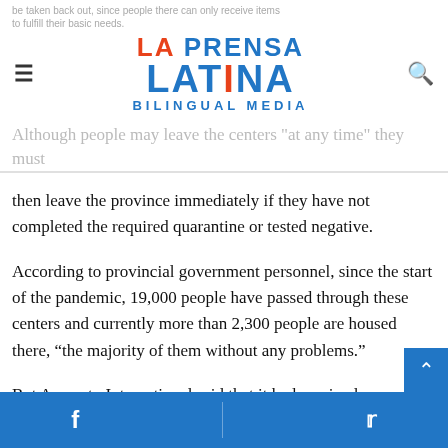be taken back out, since people there can only receive items to fulfill their basic needs.
[Figure (logo): La Prensa Latina Bilingual Media logo with hamburger menu icon on left and search icon on right]
Although people may leave the centers 'at any time' they must then leave the province immediately if they have not completed the required quarantine or tested negative.
According to provincial government personnel, since the start of the pandemic, 19,000 people have passed through these centers and currently more than 2,300 people are housed there, “the majority of them without any problems.”
But Amnesty International said that it had received numerous complaints about the poor conditions at the centers due to overcrowding, lack of hygiene, poor ventilation, “scanty” poor quality food, and either metal bars separating men, women,
Facebook share | Twitter share